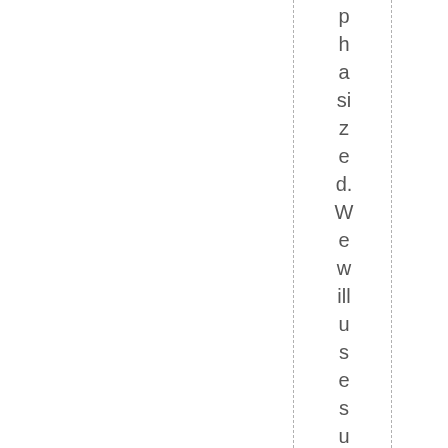phasized. We will use sumi ink to painto